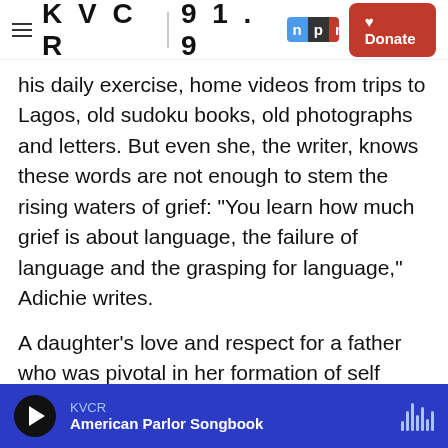KVCR 91.9 | NPR — Donate
his daily exercise, home videos from trips to Lagos, old sudoku books, old photographs and letters. But even she, the writer, knows these words are not enough to stem the rising waters of grief: "You learn how much grief is about language, the failure of language and the grasping for language," Adichie writes.
A daughter's love and respect for a father who was pivotal in her formation of self saturates these pages. Equally present is the need to create something out of that grief to honor the father so he will be remembered. But the question is how. As
KVCR — American Parlor Songbook